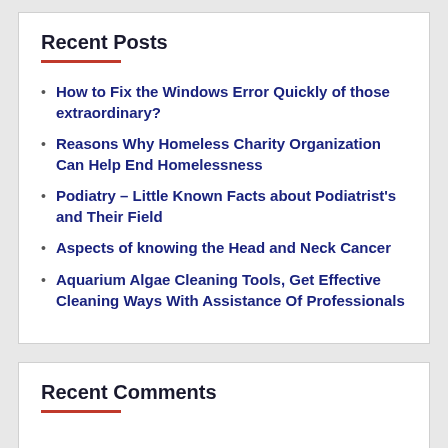Recent Posts
How to Fix the Windows Error Quickly of those extraordinary?
Reasons Why Homeless Charity Organization Can Help End Homelessness
Podiatry – Little Known Facts about Podiatrist's and Their Field
Aspects of knowing the Head and Neck Cancer
Aquarium Algae Cleaning Tools, Get Effective Cleaning Ways With Assistance Of Professionals
Recent Comments